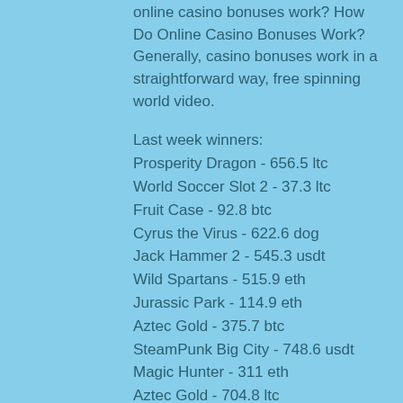online casino bonuses work? How Do Online Casino Bonuses Work? Generally, casino bonuses work in a straightforward way, free spinning world video.
Last week winners:
Prosperity Dragon - 656.5 ltc
World Soccer Slot 2 - 37.3 ltc
Fruit Case - 92.8 btc
Cyrus the Virus - 622.6 dog
Jack Hammer 2 - 545.3 usdt
Wild Spartans - 515.9 eth
Jurassic Park - 114.9 eth
Aztec Gold - 375.7 btc
SteamPunk Big City - 748.6 usdt
Magic Hunter - 311 eth
Aztec Gold - 704.8 ltc
Shoguns Secret - 645.5 ltc
Fruitoids - 347 bch
Wish Master - 191.6 btc
Wild Cherries - 79.4 usdt